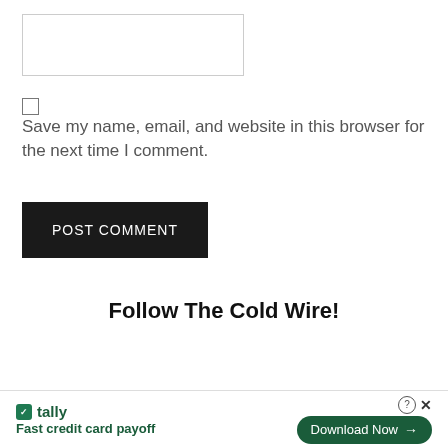[Figure (other): Text input box / form field, empty, with light gray border]
Save my name, email, and website in this browser for the next time I comment.
[Figure (other): POST COMMENT button — dark/black rectangle with white text]
Follow The Cold Wire!
[Figure (other): Advertisement banner: Tally app — Fast credit card payoff — Download Now button]